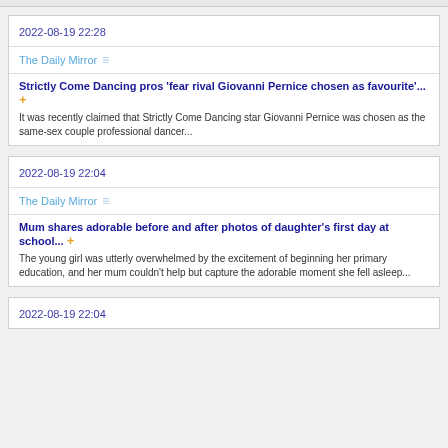2022-08-19 22:28
The Daily Mirror
Strictly Come Dancing pros 'fear rival Giovanni Pernice chosen as favourite'... + It was recently claimed that Strictly Come Dancing star Giovanni Pernice was chosen as the same-sex couple professional dancer...
2022-08-19 22:04
The Daily Mirror
Mum shares adorable before and after photos of daughter's first day at school... + The young girl was utterly overwhelmed by the excitement of beginning her primary education, and her mum couldn't help but capture the adorable moment she fell asleep...
2022-08-19 22:04